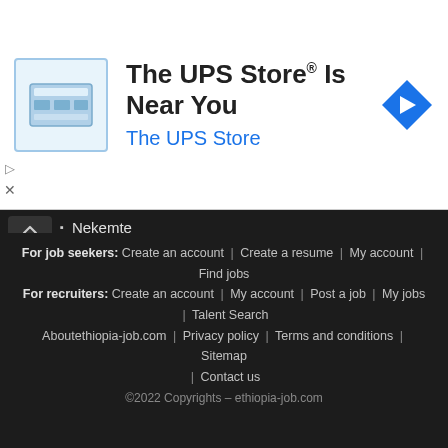[Figure (infographic): UPS Store advertisement banner with store icon, title 'The UPS Store® Is Near You', subtitle 'The UPS Store', and a blue navigation arrow icon]
Nekemte
Sawla
Sebeta
Shashamane
Shire
Sodo
Tepi
Welkite
Woldiya
Woliso
Wukro
Yirgalem
Ziway
For job seekers: Create an account | Create a resume | My account | Find jobs
For recruiters: Create an account | My account | Post a job | My jobs | Talent Search
Aboutethiopia-job.com | Privacy policy | Terms and conditions | Sitemap | Contact us
©2022 Copyrights – ethiopia-job.com